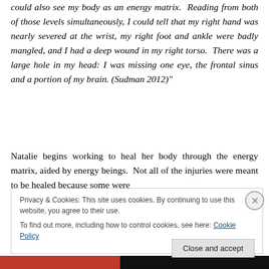could also see my body as an energy matrix.  Reading from both of those levels simultaneously, I could tell that my right hand was nearly severed at the wrist, my right foot and ankle were badly mangled, and I had a deep wound in my right torso.  There was a large hole in my head: I was missing one eye, the frontal sinus and a portion of my brain. (Sudman 2012)"
Natalie begins working to heal her body through the energy matrix, aided by energy beings.  Not all of the injuries were meant to be healed because some were
Privacy & Cookies: This site uses cookies. By continuing to use this website, you agree to their use.
To find out more, including how to control cookies, see here: Cookie Policy